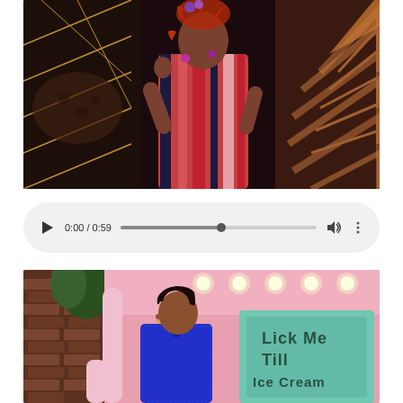[Figure (photo): Screenshot of a virtual world or video game scene showing an avatar wearing a bold red, pink, black and blue striped dress with curly reddish hair, posing in a dark ornate environment with decorative fans and gold geometric patterns on the left side.]
[Figure (screenshot): Video media player control bar showing play button, timestamp '0:00 / 0:59', a progress bar at roughly 50%, volume icon, and a three-dot more options menu. Light gray rounded pill-shaped background.]
[Figure (photo): Screenshot of a virtual world or video game scene showing an avatar with short dark hair wearing a blue lace top, holding a large pink object, standing in front of a pink interior with a teal/mint sign that reads 'Lick Me Till Ice Cream' and brick wall exterior visible on left side.]